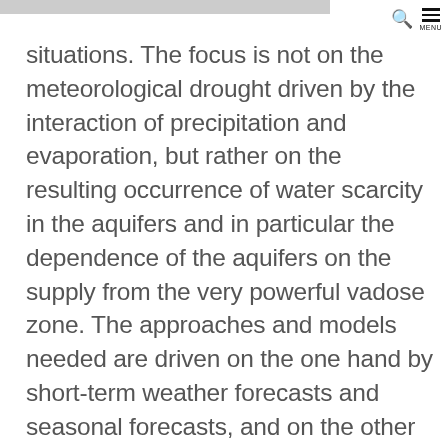MENU
situations. The focus is not on the meteorological drought driven by the interaction of precipitation and evaporation, but rather on the resulting occurrence of water scarcity in the aquifers and in particular the dependence of the aquifers on the supply from the very powerful vadose zone. The approaches and models needed are driven on the one hand by short-term weather forecasts and seasonal forecasts, and on the other hand by climate projection